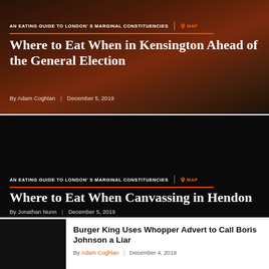[Figure (photo): Food photo showing a pot of red/orange sauce or curry from above, dark moody background]
AN EATING GUIDE TO LONDON'S MARGINAL CONSTITUENCIES | MAP
Where to Eat When in Kensington Ahead of the General Election
By Adam Coghlan | December 5, 2019
[Figure (photo): Dark/black background card for second article]
AN EATING GUIDE TO LONDON'S MARGINAL CONSTITUENCIES | MAP
Where to Eat When Canvassing in Hendon
By Jonathan Nunn | December 5, 2019
[Figure (photo): Dark thumbnail image for Burger King article]
Burger King Uses Whopper Advert to Call Boris Johnson a Liar
By Adam Coghlan | December 4, 2019